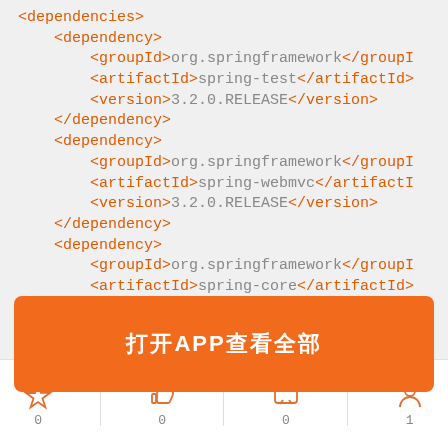<dependencies>
    <dependency>
        <groupId>org.springframework</groupId>
        <artifactId>spring-test</artifactId>
        <version>3.2.0.RELEASE</version>
    </dependency>
    <dependency>
        <groupId>org.springframework</groupId>
        <artifactId>spring-webmvc</artifactId>
        <version>3.2.0.RELEASE</version>
    </dependency>
    <dependency>
        <groupId>org.springframework</groupId>
        <artifactId>spring-core</artifactId>
        </dependency>
    <dependency>
        <groupId>org.mybatis</groupId>
        <artifactId>mybatis</artifactId>
[Figure (other): Orange button overlay with Chinese text '打开APP查看全部']
0  0  0  1